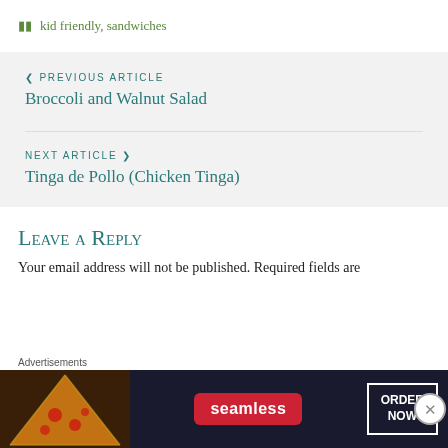kid friendly, sandwiches
< PREVIOUS ARTICLE
Broccoli and Walnut Salad
NEXT ARTICLE >
Tinga de Pollo (Chicken Tinga)
Leave a Reply
Your email address will not be published. Required fields are
[Figure (screenshot): Seamless food ordering advertisement banner with pizza image on left, Seamless logo in red rounded rectangle in center, and ORDER NOW button in white border box on right, on dark background. Labeled 'Advertisements' above.]